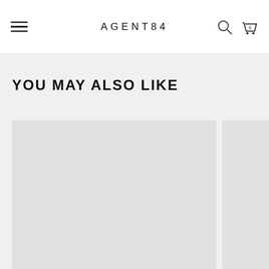AGENT84
YOU MAY ALSO LIKE
[Figure (other): Two product image placeholders side by side in a 'You May Also Like' recommendation section on an e-commerce page]